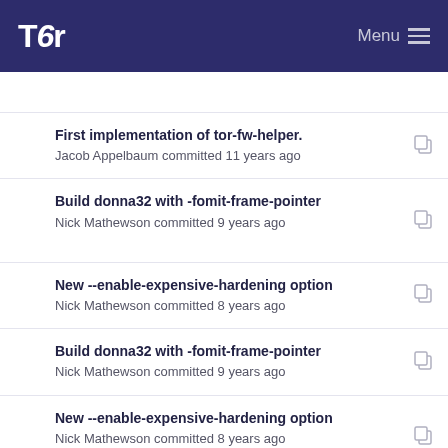Tor Menu
First implementation of tor-fw-helper.
Jacob Appelbaum committed 11 years ago
Build donna32 with -fomit-frame-pointer
Nick Mathewson committed 9 years ago
New --enable-expensive-hardening option
Nick Mathewson committed 8 years ago
Build donna32 with -fomit-frame-pointer
Nick Mathewson committed 9 years ago
New --enable-expensive-hardening option
Nick Mathewson committed 8 years ago
Build donna32 with -fomit-frame-pointer
Nick Mathewson committed 9 years ago